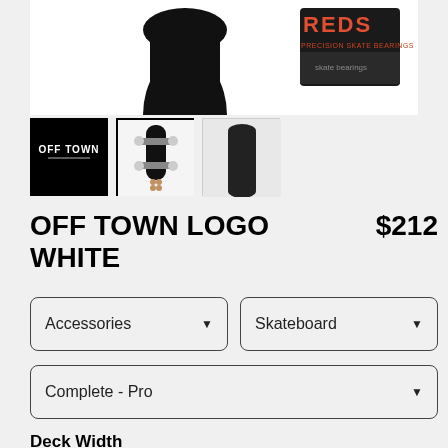[Figure (photo): Product image area showing a black skateboard deck top view and REDS precision skate bearings packaging, on white background]
[Figure (photo): Thumbnail 1: Black square with OFF TOWN logo in white text]
[Figure (photo): Thumbnail 2 (selected): Assembled skateboard complete with trucks and wheels shown, exploded view]
[Figure (photo): Thumbnail 3: Black skateboard deck shape on light background]
OFF TOWN LOGO WHITE
$212
Accessories
Skateboard
Complete - Pro
Deck Width